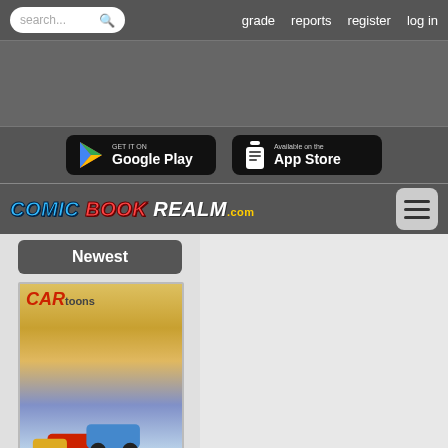search...  grade  reports  register  log in
[Figure (screenshot): Comic Book Realm website screenshot showing navigation bar, app store download buttons, logo, and comic book covers listing]
GET IT ON Google Play
Available on the App Store
COMIC BOOK REALM.com
Newest
[Figure (photo): CARtoons comic book cover showing cartoon cars racing]
[Figure (photo): CAR comics cover showing cars and street scene]